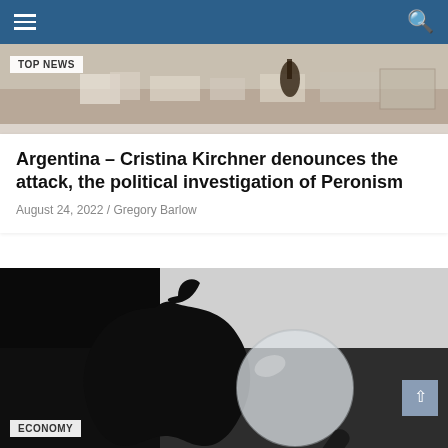Navigation bar with hamburger menu and search icon
[Figure (photo): Top news article image showing a desk with papers and objects, partially visible]
TOP NEWS
Argentina – Cristina Kirchner denounces the attack, the political investigation of Peronism
August 24, 2022 / Gregory Barlow
[Figure (photo): Apple logo (black apple silhouette) in background with a magnifying glass in the foreground, on a grey background]
ECONOMY